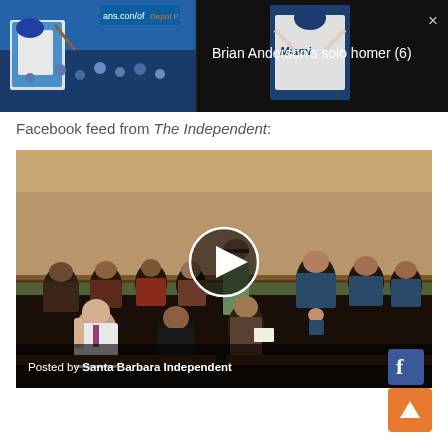[Figure (screenshot): Baseball video thumbnail showing player in Miami Marlins uniform with crowd, overlaid with video controls on dark background. Close button (×) in top right. Text reads: Brian Anderson's solo homer (6)]
Facebook feed from The Independent:
[Figure (screenshot): Facebook video embed showing audience seated in a hall, with a play button overlay. Bottom bar shows 'Posted by Santa Barbara Independent' and Facebook icon logo.]
[Figure (other): Orange scroll-to-top button with upward arrow in bottom-right corner]